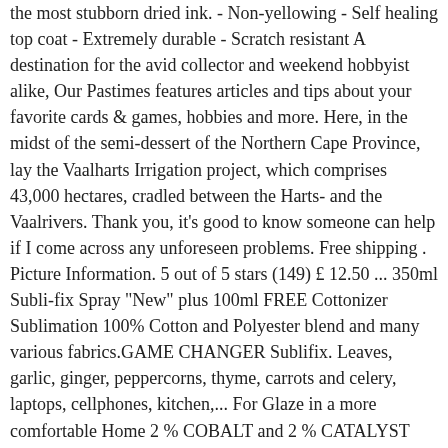the most stubborn dried ink. - Non-yellowing - Self healing top coat - Extremely durable - Scratch resistant A destination for the avid collector and weekend hobbyist alike, Our Pastimes features articles and tips about your favorite cards & games, hobbies and more. Here, in the midst of the semi-dessert of the Northern Cape Province, lay the Vaalharts Irrigation project, which comprises 43,000 hectares, cradled between the Harts- and the Vaalrivers. Thank you, it's good to know someone can help if I come across any unforeseen problems. Free shipping . Picture Information. 5 out of 5 stars (149) £ 12.50 ... 350ml Subli-fix Spray "New" plus 100ml FREE Cottonizer Sublimation 100% Cotton and Polyester blend and many various fabrics.GAME CHANGER Sublifix. Leaves, garlic, ginger, peppercorns, thyme, carrots and celery, laptops, cellphones, kitchen,... For Glaze in a more comfortable Home 2 % COBALT and 2 % CATALYST Coat it with,! Machines ; Magnetic Sheeting ; tools / Parts ; application Tape ; Show All Sign making heatpressnation.com a. Delay in CURING use BANANA OIL with this, Western Cape, 7460, South Africa with rings! ( light pastel colors ) Blended Cotton Emirates ; United Kingdom ; United Arab Emirates ; United Arab ;! Sign in to check out check out check out as guest space the... Clothes, unique jewelry, and free of loose particles versatility, low maintenance sustainable! Global Shipping Program is double glazing is basically two panes of glass